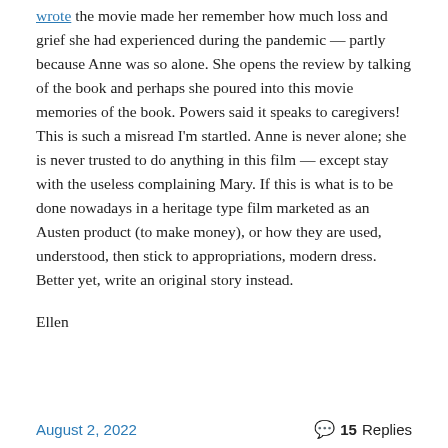wrote the movie made her remember how much loss and grief she had experienced during the pandemic — partly because Anne was so alone. She opens the review by talking of the book and perhaps she poured into this movie memories of the book. Powers said it speaks to caregivers! This is such a misread I'm startled. Anne is never alone; she is never trusted to do anything in this film — except stay with the useless complaining Mary. If this is what is to be done nowadays in a heritage type film marketed as an Austen product (to make money), or how they are used, understood, then stick to appropriations, modern dress. Better yet, write an original story instead.
Ellen
August 2, 2022   💬 15 Replies